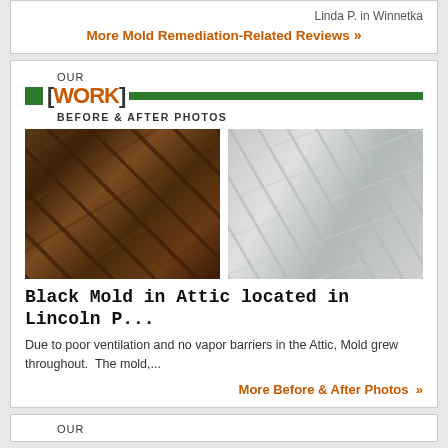Linda P. in Winnetka
More Mold Remediation-Related Reviews »
OUR [WORK] BEFORE & AFTER PHOTOS
[Figure (photo): Before photo: dark wood attic interior with black mold on beams]
[Figure (photo): After photo: clean white treated attic interior after mold remediation]
Black Mold in Attic located in Lincoln P...
Due to poor ventilation and no vapor barriers in the Attic, Mold grew throughout.  The mold,...
More Before & After Photos »
OUR